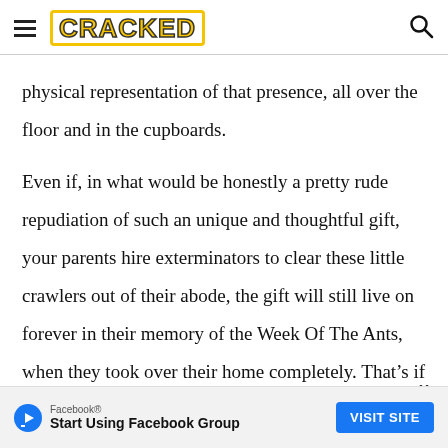CRACKED
physical representation of that presence, all over the floor and in the cupboards.
Even if, in what would be honestly a pretty rude repudiation of such an unique and thoughtful gift, your parents hire exterminators to clear these little crawlers out of their abode, the gift will still live on forever in their memory of the Week Of The Ants, when they took over their home completely. That’s if they can even get them all. Alternatively, if the ants persist, yo
[Figure (other): Facebook advertisement banner: Facebook logo with play triangle icon, text 'Facebook® Start Using Facebook Group', and blue 'VISIT SITE' button]